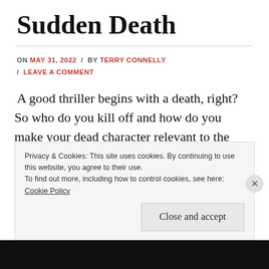Sudden Death
ON MAY 31, 2022 / BY TERRY CONNELLY / LEAVE A COMMENT
A good thriller begins with a death, right? So who do you kill off and how do you make your dead character relevant to the story? One way is through short flashbacks.
Privacy & Cookies: This site uses cookies. By continuing to use this website, you agree to their use.
To find out more, including how to control cookies, see here: Cookie Policy
Close and accept